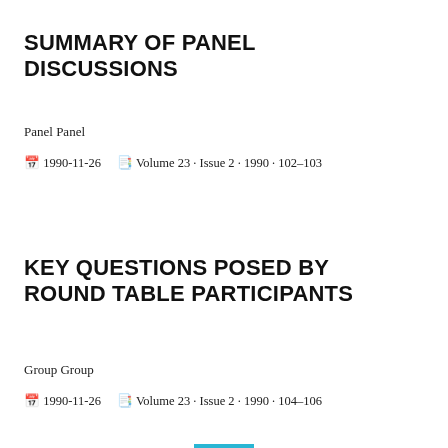SUMMARY OF PANEL DISCUSSIONS
Panel Panel
🗓 1990-11-26   📋 Volume 23 · Issue 2 · 1990 · 102–103
KEY QUESTIONS POSED BY ROUND TABLE PARTICIPANTS
Group Group
🗓 1990-11-26   📋 Volume 23 · Issue 2 · 1990 · 104–106